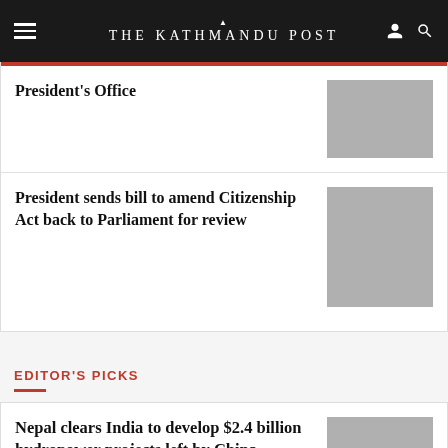THE KATHMANDU POST
President’s Office
President sends bill to amend Citizenship Act back to Parliament for review
EDITOR'S PICKS
Nepal clears India to develop $2.4 billion hydropower projects left by China